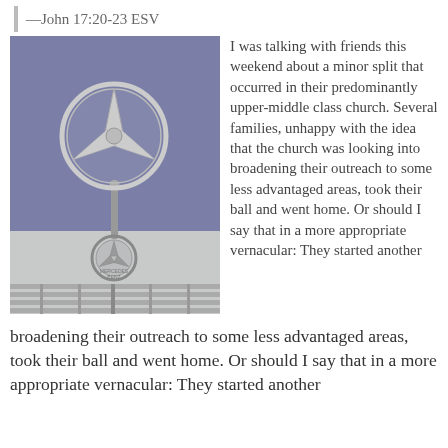—John 17:20-23 ESV
[Figure (photo): Close-up photograph of a Mercedes-Benz hood ornament (three-pointed star) mounted on the front grille of a car, showing the iconic star emblem on a pole above the grille and a smaller Mercedes badge below it.]
I was talking with friends this weekend about a minor split that occurred in their predominantly upper-middle class church. Several families, unhappy with the idea that the church was looking into broadening their outreach to some less advantaged areas, took their ball and went home. Or should I say that in a more appropriate vernacular: They started another